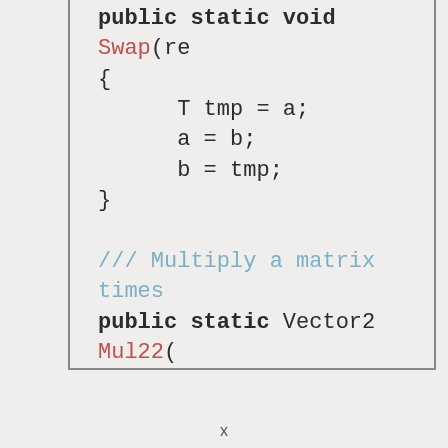[Figure (screenshot): Code snippet showing C# static methods: swap method body with T tmp = a; a = b; b = tmp; and Mul22 method with return new Vector2(A.ex...) and a comment about multiplying two rotations.]
x